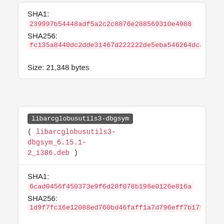SHA1:
239997b54448adf5a2c2c8876e288569310e4988
SHA256:
fc135a8440dc2dde31467d222222de5eba546264dca1d58373c55584...
Size: 21,348 bytes
libarcglobusutils3-dbgsym
( libarcglobusutils3-dbgsym_6.15.1-2_i386.deb )
SHA1:
6cad0456f450373e9f6d20f078b196e0126e816a
SHA256:
1d9f7fc16e12088ed760bd46faff1a7d796eff7b1799b0641ca5076...
Size: 193,700 bytes